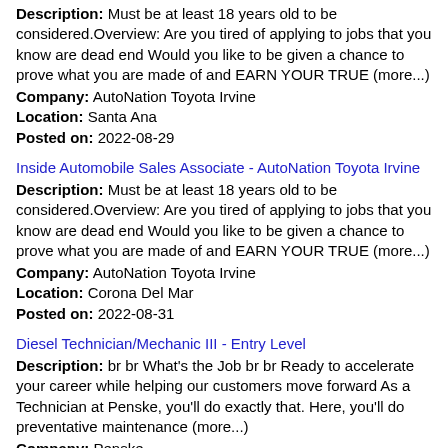Description: Must be at least 18 years old to be considered.Overview: Are you tired of applying to jobs that you know are dead end Would you like to be given a chance to prove what you are made of and EARN YOUR TRUE (more...)
Company: AutoNation Toyota Irvine
Location: Santa Ana
Posted on: 2022-08-29
Inside Automobile Sales Associate - AutoNation Toyota Irvine
Description: Must be at least 18 years old to be considered.Overview: Are you tired of applying to jobs that you know are dead end Would you like to be given a chance to prove what you are made of and EARN YOUR TRUE (more...)
Company: AutoNation Toyota Irvine
Location: Corona Del Mar
Posted on: 2022-08-31
Diesel Technician/Mechanic III - Entry Level
Description: br br What's the Job br br Ready to accelerate your career while helping our customers move forward As a Technician at Penske, you'll do exactly that. Here, you'll do preventative maintenance (more...)
Company: Penske
Location: Mira Loma
Posted on: 2022-09-02
Diesel Technician/Mechanic III - Entry Level